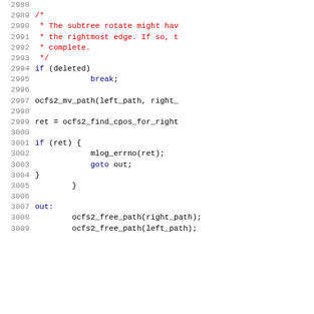Source code listing, lines 2988-3009, C kernel code with comments and function calls